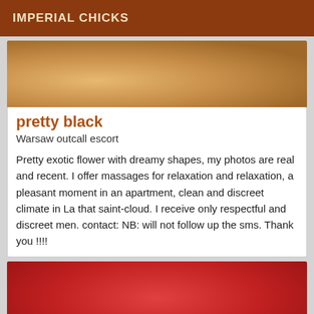IMPERIAL CHICKS
[Figure (photo): Close-up photo of person's legs/lower body with warm brown tones]
pretty black
Warsaw outcall escort
Pretty exotic flower with dreamy shapes, my photos are real and recent. I offer massages for relaxation and relaxation, a pleasant moment in an apartment, clean and discreet climate in La that saint-cloud. I receive only respectful and discreet men. contact: NB: will not follow up the sms. Thank you !!!!
[Figure (photo): Person wearing red top, selfie-style photo, face partially visible]